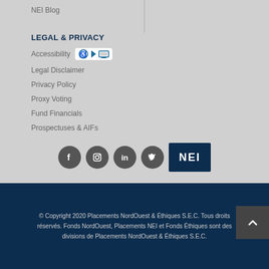NEI Blog
LEGAL & PRIVACY
Accessibility
Legal Disclaimer
Privacy Policy
Proxy Voting
Fund Financials
Prospectuses & AIFs
[Figure (logo): Social media icons: Facebook, Instagram, LinkedIn, Twitter, and NEI logo box in dark navy]
© Copyright 2020 Placements NordOuest & Éthiques S.E.C. Tous droits réservés. Fonds NordOuest, Placements NEI et Fonds Éthiques sont des divisions de Placements NordOuest & Éthiques S.E.C.